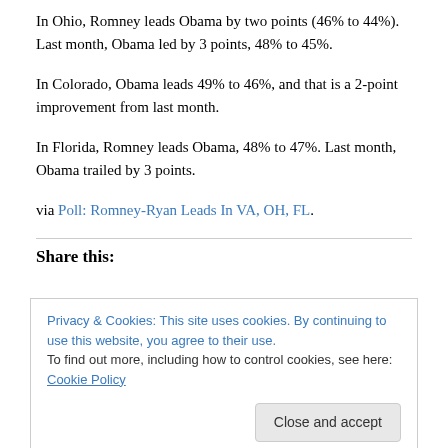In Ohio, Romney leads Obama by two points (46% to 44%). Last month, Obama led by 3 points, 48% to 45%.
In Colorado, Obama leads 49% to 46%, and that is a 2-point improvement from last month.
In Florida, Romney leads Obama, 48% to 47%. Last month, Obama trailed by 3 points.
via Poll: Romney-Ryan Leads In VA, OH, FL.
Share this:
Privacy & Cookies: This site uses cookies. By continuing to use this website, you agree to their use.
To find out more, including how to control cookies, see here: Cookie Policy